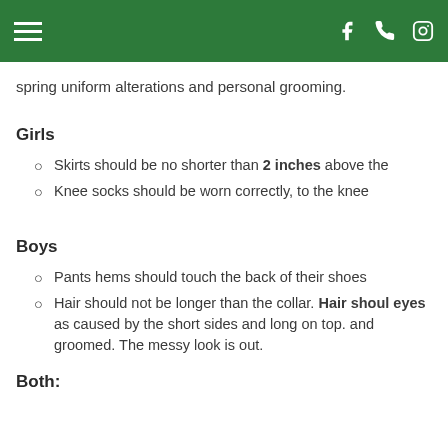spring uniform alterations and personal grooming.
Girls
Skirts should be no shorter than 2 inches above the
Knee socks should be worn correctly, to the knee
Boys
Pants hems should touch the back of their shoes
Hair should not be longer than the collar. Hair shoul eyes as caused by the short sides and long on top. and groomed. The messy look is out.
Both: